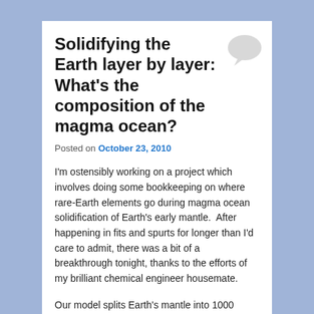Solidifying the Earth layer by layer: What's the composition of the magma ocean?
[Figure (illustration): Speech/comment bubble icon in light gray, top right of title area]
Posted on October 23, 2010
I'm ostensibly working on a project which involves doing some bookkeeping on where rare-Earth elements go during magma ocean solidification of Earth's early mantle. After happening in fits and spurts for longer than I'd care to admit, there was a bit of a breakthrough tonight, thanks to the efforts of my brilliant chemical engineer housemate.
Our model splits Earth's mantle into 1000 concentric shells, then solidifies the shells layer by layer from the bottom up (because the adiabatic temperature profile and the solidus intersect at the bottom of the mantle). Assuming that once a layer has solidified, the rest of the